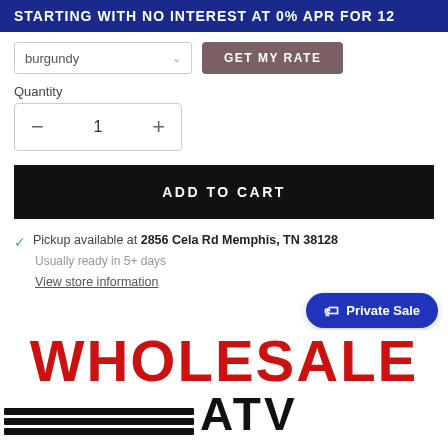STARTING WITH NO INTEREST AT 0% APR FOR 12
burgundy
GET MY RATE
Quantity
− 1 +
ADD TO CART
Pickup available at 2856 Cela Rd Memphis, TN 38128
Usually ready in 5+ days
View store information
Private Sale
[Figure (logo): WHOLESALE ATV logo with large red stamped WHOLESALE text and partial ATV letters with horizontal black bars]